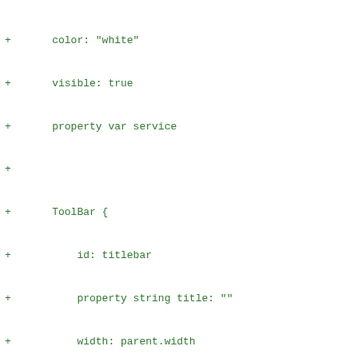+ color: "white"
+ visible: true
+ property var service
+
+ ToolBar {
+     id: titlebar
+     property string title: ""
+     width: parent.width
+     height: 40
+     z: 2
+
+     RowLayout {
+         spacing: 20
+         anchors.fill: parent
+
+         ToolButton {
+             contentItem: Image {
+                 fillMode: Image.PreserveAspect
+                 source: "../icons/Chevron-left
+                 anchors.centerIn: parent
+             }
+
+             visible: stackView.depth > 1
+             onClicked: stackView.pop();
+         }
+         Label {
+             id: titleText
+             font.pixelSize: 20
+             text: stackView.currentItem.title
+             horizontalAlignment: Qt.AlignHCent